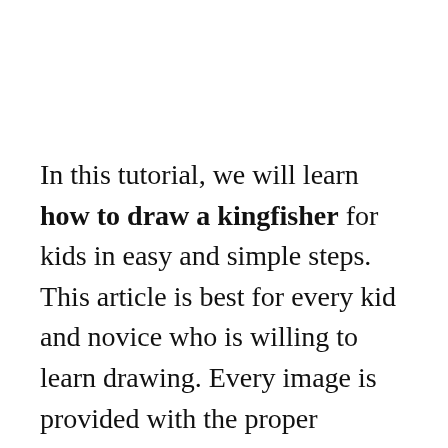In this tutorial, we will learn how to draw a kingfisher for kids in easy and simple steps. This article is best for every kid and novice who is willing to learn drawing. Every image is provided with the proper explanation about how to draw it. Follow the illustration step by step and you are done with it.